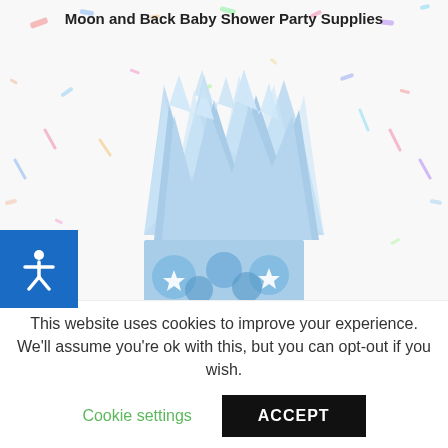Moon and Back Baby Shower Party Supplies
[Figure (photo): Baby shower party supplies product photo: a light blue paper cup filled with blue tissue paper, decorated with moon and star motifs, set against a white background with colorful confetti pattern. Blue accessibility icon button visible on the left side.]
This website uses cookies to improve your experience. We'll assume you're ok with this, but you can opt-out if you wish.
Cookie settings
ACCEPT